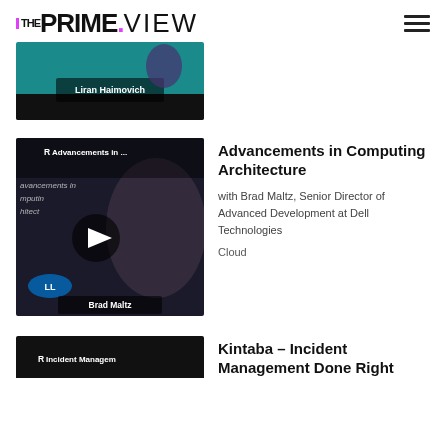THE PRIME.VIEW
[Figure (screenshot): Partial video thumbnail showing Liran Haimovich]
[Figure (screenshot): Video thumbnail for 'Advancements in Computing Architecture' featuring Brad Maltz with YouTube play button]
Advancements in Computing Architecture
with Brad Maltz, Senior Director of Advanced Development at Dell Technologies
Cloud
[Figure (screenshot): Partial video thumbnail for 'Incident Management Done Right' by Kintaba]
Kintaba – Incident Management Done Right